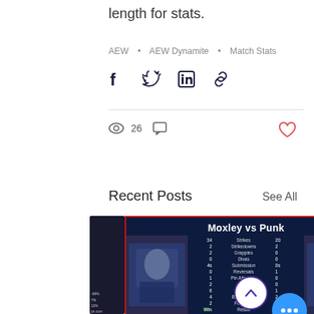length for stats.
AEW • AEW Dynamite • Match Stats
[Figure (other): Social share icons: Facebook, Twitter, LinkedIn, link/chain]
26 views, comment icon, heart/like icon
Recent Posts
See All
[Figure (screenshot): Recent post card showing match stats graphic titled 'Moxley vs Punk' with wrestling statistics, and caption 'Jon Moxley Squashes CM Punk | In-ring Statistics |']